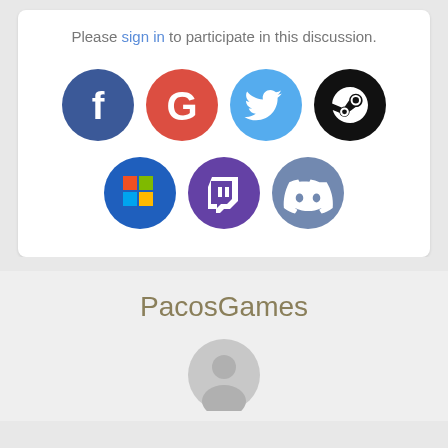Please sign in to participate in this discussion.
[Figure (illustration): Social login icons in circles: Facebook (blue), Google (red), Twitter (light blue), Steam (black), Microsoft (blue), Twitch (purple), Discord (periwinkle)]
PacosGames
[Figure (illustration): Partial user avatar circle showing a grey silhouette]